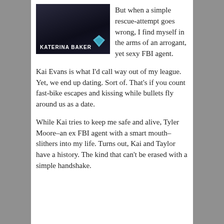[Figure (illustration): Book cover of a novel by Katerina Baker, dark background with a diamond/gem logo in the bottom right corner]
But when a simple rescue-attempt goes wrong, I find myself in the arms of an arrogant, yet sexy FBI agent.
Kai Evans is what I'd call way out of my league. Yet, we end up dating. Sort of. That's if you count fast-bike escapes and kissing while bullets fly around us as a date.
While Kai tries to keep me safe and alive, Tyler Moore–an ex FBI agent with a smart mouth–slithers into my life. Turns out, Kai and Taylor have a history. The kind that can't be erased with a simple handshake.